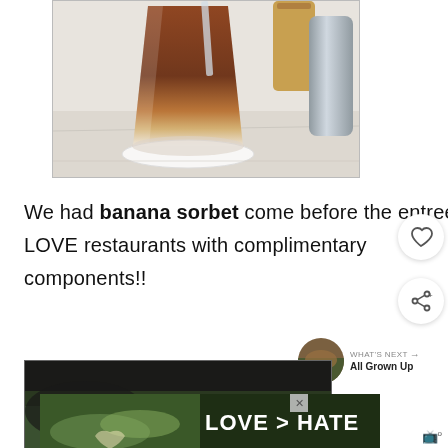[Figure (photo): A tall glass of iced tea on a white coaster on a restaurant table, with a silver salt shaker and tan pepper grinder in the background.]
We had banana sorbet come before the entrees!! LOVE restaurants with complimentary components!!
[Figure (screenshot): What's Next panel thumbnail showing a food dish labeled 'All Grown Up']
[Figure (photo): Second photo, partially visible, showing a dark scene with greenery.]
[Figure (photo): Advertisement overlay showing hands making a heart shape with text 'LOVE > HATE' on a dark green background.]